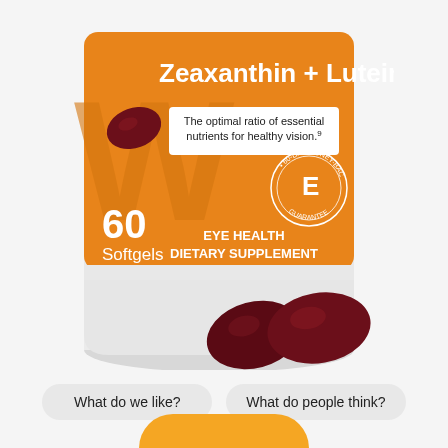[Figure (photo): Product photo of a Zeaxanthin + Lutein supplement bottle with orange label showing 60 Softgels Eye Health Dietary Supplement, with dark red softgel capsules in the foreground]
What do we like?
What do people think?